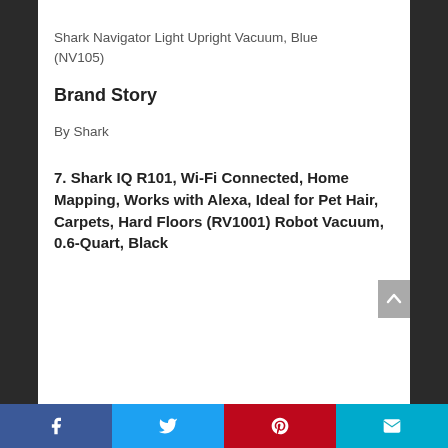Shark Navigator Light Upright Vacuum, Blue (NV105)
Brand Story
By Shark
7. Shark IQ R101, Wi-Fi Connected, Home Mapping, Works with Alexa, Ideal for Pet Hair, Carpets, Hard Floors (RV1001) Robot Vacuum, 0.6-Quart, Black
Social share bar: Facebook, Twitter, Pinterest, Email